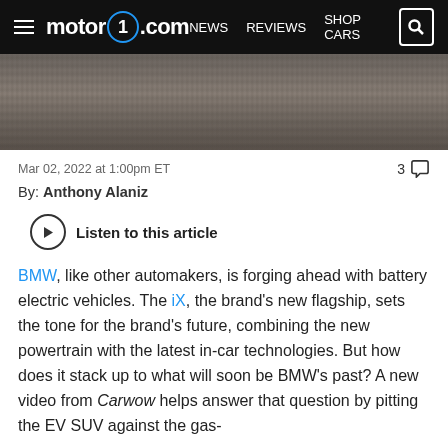motor1.com  NEWS  REVIEWS  SHOP CARS
[Figure (photo): Dark road surface hero image, top of article]
Mar 02, 2022 at 1:00pm ET
By: Anthony Alaniz
Listen to this article
BMW, like other automakers, is forging ahead with battery electric vehicles. The iX, the brand's new flagship, sets the tone for the brand's future, combining the new powertrain with the latest in-car technologies. But how does it stack up to what will soon be BMW's past? A new video from Carwow helps answer that question by pitting the EV SUV against the gas-